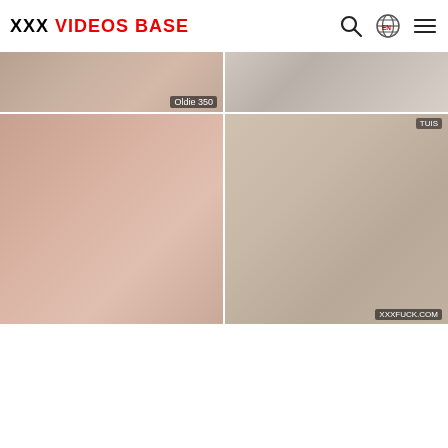XXX VIDEOS BASE
[Figure (photo): Video thumbnail grid showing four adult video thumbnails in a 2x2 layout]
[Figure (photo): Top-left thumbnail: adult content still]
[Figure (photo): Top-right thumbnail: adult content still]
[Figure (photo): Bottom-left thumbnail: adult content still]
[Figure (photo): Bottom-right thumbnail: adult content still with XXXFUCK.COM watermark]